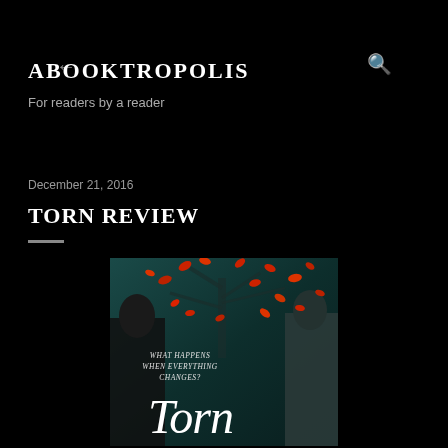← ABOOKTROPOLIS — For readers by a reader (with search icon)
ABOOKTROPOLIS
For readers by a reader
December 21, 2016
TORN REVIEW
[Figure (photo): Book cover of 'Torn' — dark teal/forest background with two figures back-to-back, red leaves falling from a tree, text reads 'What happens when everything changes?' and the title 'Torn' in white italic script at the bottom.]